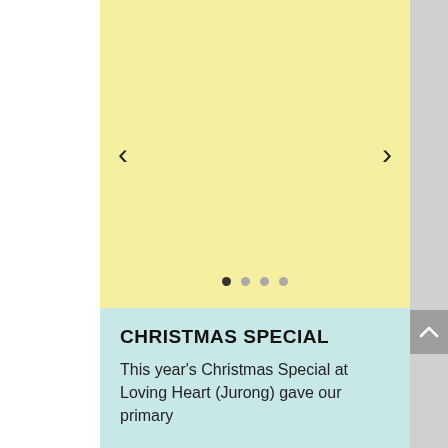[Figure (screenshot): A website screenshot showing a carousel image area with a yellow/light-gold background placeholder image. There are left and right navigation arrows (‹ and ›) on the sides, and four carousel indicator dots at the bottom (first dot is active/dark, rest are lighter). Below the yellow area is a light blue/mint section.]
CHRISTMAS SPECIAL
This year’s Christmas Special at Loving Heart (Jurong) gave our primary